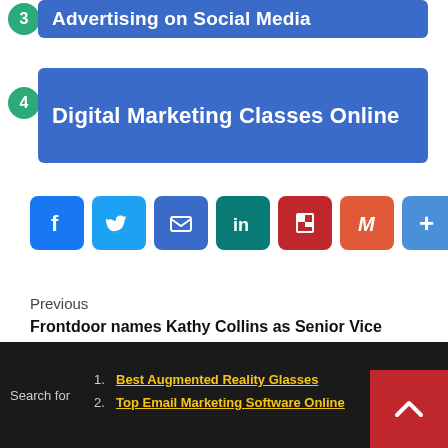3 Advertising on Social Media
4 Digital Marketing Classes Online
[Figure (infographic): Social sharing icons row: Facebook, Twitter, Email, LinkedIn, Flipboard, Gmail, More (+)]
Previous
Frontdoor names Kathy Collins as Senior Vice President, Chief Marketing Officer
Next
Activision Blizzard to Recognize and Begin Negotiations with CWA
Search for  1. Best Augmented Reality Glasses  2. Top Email Marketing Software Online